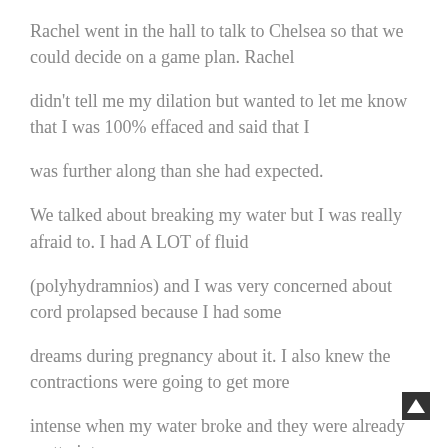Rachel went in the hall to talk to Chelsea so that we could decide on a game plan. Rachel
didn't tell me my dilation but wanted to let me know that I was 100% effaced and said that I
was further along than she had expected.
We talked about breaking my water but I was really afraid to. I had A LOT of fluid
(polyhydramnios) and I was very concerned about cord prolapsed because I had some
dreams during pregnancy about it. I also knew the contractions were going to get more
intense when my water broke and they were already pretty intense After 3 more hours I